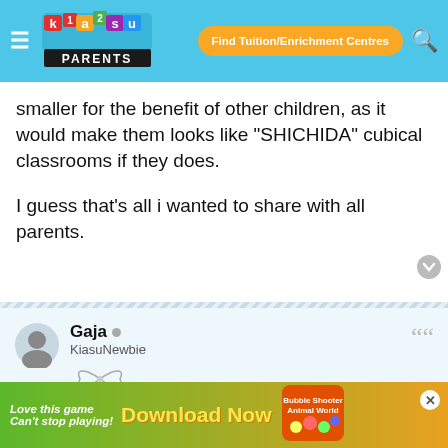KiasuParents — Find Tuition/Enrichment Centres
smaller for the benefit of other children, as it would make them looks like "SHICHIDA" cubical classrooms if they does.

I guess that's all i wanted to share with all parents.
Gaja • KiasuNewbie
Re: Pats schoolhouse or Brighton Montessori at grassroot is
Fri Mar 25, 2016 8:45 am
[Figure (screenshot): Advertisement banner for a mobile game: 'Love this game Can't stop playing! Download Now — Bubble Shooter Animal World']